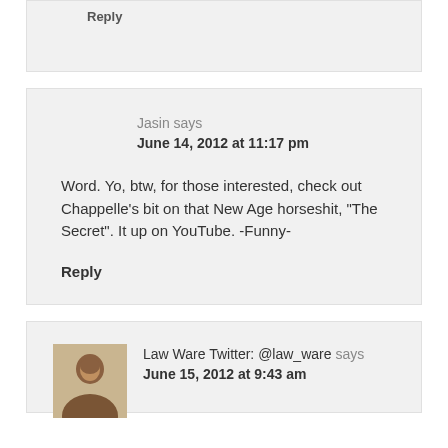Reply
Jasin says
June 14, 2012 at 11:17 pm
Word. Yo, btw, for those interested, check out Chappelle's bit on that New Age horseshit, "The Secret". It up on YouTube. -Funny-
Reply
[Figure (photo): Avatar photo of Law Ware Twitter user]
Law Ware Twitter: @law_ware says
June 15, 2012 at 9:43 am